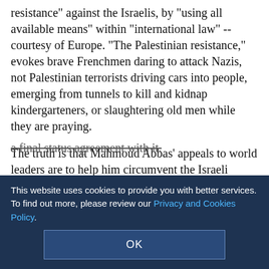resistance" against the Israelis, by "using all available means" within "international law" -- courtesy of Europe. "The Palestinian resistance," evokes brave Frenchmen daring to attack Nazis, not Palestinian terrorists driving cars into people, emerging from tunnels to kill and kidnap kindergarteners, or slaughtering old men while they are praying.
The truth is that Mahmoud Abbas' appeals to world leaders are to help him circumvent the Israeli government, peace negotiations and legally binding peace agreements, all in order to achieve a Palestinian state unilaterally -- without having to recognize Israel as the homeland of the Jewish people and without reaching a final status agreement with it.
Abbas says he wants a safe passage between the Gaza Strip and the West Bank, as well as full control of air and sea lanes; he means he wants to receive arms from Iran
This website uses cookies to provide you with better services. To find out more, please review our Privacy and Cookies Policy.